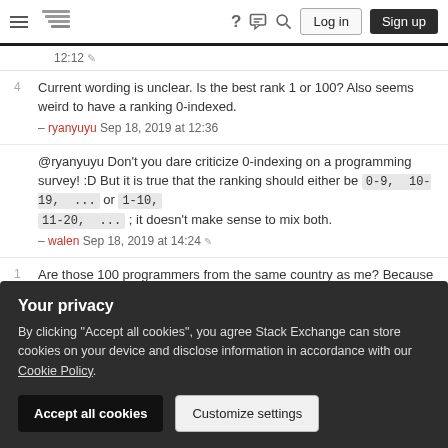Stack Exchange navigation bar with hamburger menu, logo, help, chat, search icons, Log in and Sign up buttons
12:12 (edit)
4  Current wording is unclear. Is the best rank 1 or 100? Also seems weird to have a ranking 0-indexed. – ryanyuyu Sep 18, 2019 at 12:36
@ryanyuyu Don't you dare criticize 0-indexing on a programming survey! :D But it is true that the ranking should either be 0-9, 10-19, ... or 1-10, 11-20, ... ; it doesn't make sense to mix both. – walen Sep 18, 2019 at 14:24
1  Are those 100 programmers from the same country as me? Because "same job title" may imply different roles, backgrounds and/or set of skills in different
to make trends in certain countries more obvious (do a lot of Y do...think the chapter on the other of the
Your privacy
By clicking "Accept all cookies", you agree Stack Exchange can store cookies on your device and disclose information in accordance with our Cookie Policy.
Accept all cookies   Customize settings